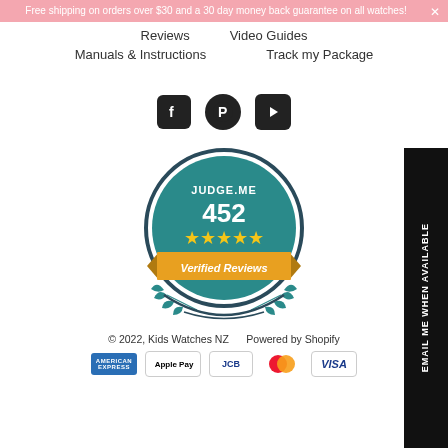Free shipping on orders over $30 and a 30 day money back guarantee on all watches!
Reviews   Video Guides
Manuals & Instructions   Track my Package
[Figure (illustration): Social media icons: Facebook, Pinterest, YouTube in dark rounded square buttons]
[Figure (illustration): Judge.Me badge showing 452 verified reviews with 5 gold stars and teal ribbon banner reading 'Verified Reviews' with laurel branches]
© 2022, Kids Watches NZ    Powered by Shopify
[Figure (illustration): Payment method icons: American Express, Apple Pay, JCB, Mastercard, Visa]
EMAIL ME WHEN AVAILABLE